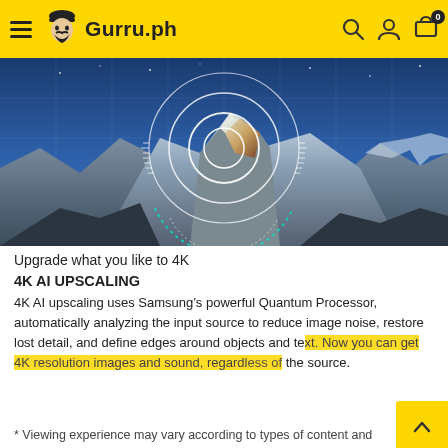Gurru.ph navigation bar with hamburger menu, logo, search, account, and cart icons
[Figure (photo): Mountain landscape (snowy peaks) overlaid with concentric white circles and a grid, representing AI upscaling / targeting technology visual]
Upgrade what you like to 4K
4K AI UPSCALING
4K AI upscaling uses Samsung’s powerful Quantum Processor, automatically analyzing the input source to reduce image noise, restore lost detail, and define edges around objects and text. Now you can get 4K resolution images and sound, regardless of the source.
* Viewing experience may vary according to types of content and